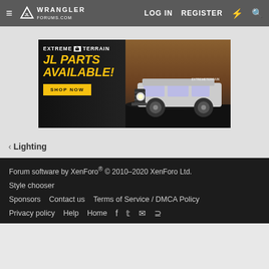≡ WRANGLER FORUMS  LOG IN  REGISTER
[Figure (photo): ExtremeTerrain advertisement banner showing a Jeep Wrangler JL with headline 'JL PARTS AVAILABLE!' and a 'SHOP NOW' button]
< Lighting
Forum software by XenForo® © 2010–2020 XenForo Ltd.
Style chooser
Sponsors  Contact us  Terms of Service / DMCA Policy
Privacy policy  Help  Home